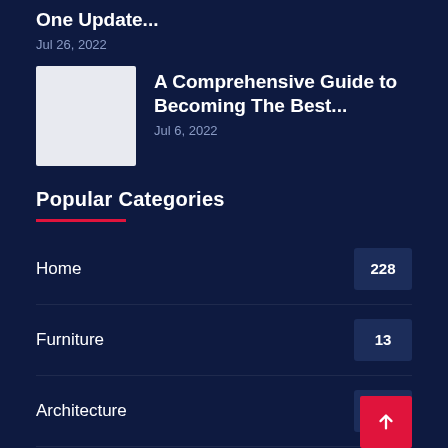One Update...
Jul 26, 2022
[Figure (photo): Thumbnail image placeholder (light gray square)]
A Comprehensive Guide to Becoming The Best...
Jul 6, 2022
Popular Categories
Home 228
Furniture 13
Architecture 10
Flooring 9
Kitchen 6
Interior